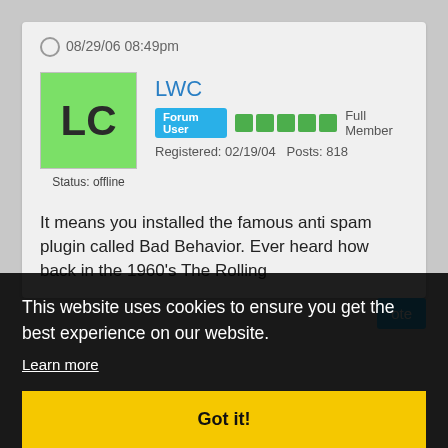08/29/06 08:49pm
[Figure (illustration): User avatar: green square with bold letters LC]
Status: offline
LWC
Forum User  Full Member  Registered: 02/19/04  Posts: 818
It means you installed the famous anti spam plugin called Bad Behavior. Ever heard how back in the 1960's The Rolling
This website uses cookies to ensure you get the best experience on our website.
Learn more
Got it!